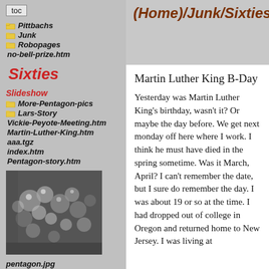toc
Pittbachs
Junk
Robopages
no-bell-prize.htm
Sixties
Slideshow
More-Pentagon-pics
Lars-Story
Vickie-Peyote-Meeting.htm
Martin-Luther-King.htm
aaa.tgz
index.htm
Pentagon-story.htm
[Figure (photo): Black and white photo of small round objects, possibly ball bearings or seeds]
pentagon.jpg
(Home)/Junk/Sixties
Martin Luther King B-Day
Yesterday was Martin Luther King's birthday, wasn't it? Or maybe the day before. We get next monday off here where I work. I think he must have died in the spring sometime. Was it March, April? I can't remember the date, but I sure do remember the day. I was about 19 or so at the time. I had dropped out of college in Oregon and returned home to New Jersey. I was living at